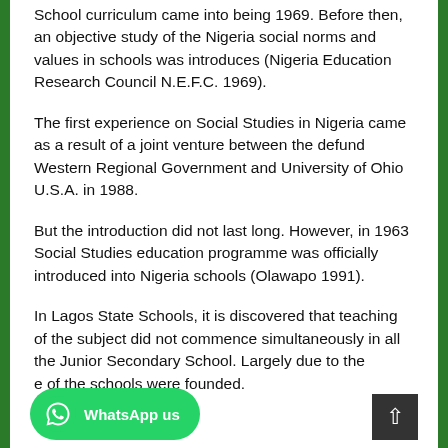School curriculum came into being 1969. Before then, an objective study of the Nigeria social norms and values in schools was introduces (Nigeria Education Research Council N.E.F.C. 1969).
The first experience on Social Studies in Nigeria came as a result of a joint venture between the defund Western Regional Government and University of Ohio U.S.A. in 1988.
But the introduction did not last long. However, in 1963 Social Studies education programme was officially introduced into Nigeria schools (Olawapo 1991).
In Lagos State Schools, it is discovered that teaching of the subject did not commence simultaneously in all the Junior Secondary School. Largely due to the e of the schools were founded.